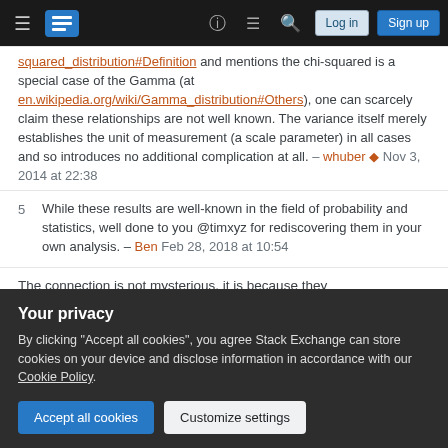Stack Exchange navigation bar with hamburger menu, logo, help, chat, search, Log in, Sign up buttons
squared_distribution#Definition and mentions the chi-squared is a special case of the Gamma (at en.wikipedia.org/wiki/Gamma_distribution#Others), one can scarcely claim these relationships are not well known. The variance itself merely establishes the unit of measurement (a scale parameter) in all cases and so introduces no additional complication at all. – whuber ♦ Nov 3, 2014 at 22:38
5  While these results are well-known in the field of probability and statistics, well done to you @timxyz for rediscovering them in your own analysis. – Ben Feb 28, 2018 at 10:54
The connection is not mysterious, it is because they
Your privacy
By clicking "Accept all cookies", you agree Stack Exchange can store cookies on your device and disclose information in accordance with our Cookie Policy.
Accept all cookies   Customize settings